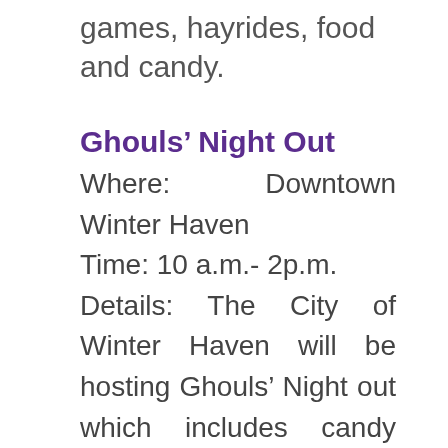games, hayrides, food and candy.
Ghouls’ Night Out
Where: Downtown Winter Haven
Time: 10 a.m.- 2p.m.
Details: The City of Winter Haven will be hosting Ghouls’ Night out which includes candy from area businesses, a hayride, food vendors, a DJ, and lots of fun activities for people of all ages.
Halloween Water Ski Show
Where: Lake Silver, Winter Haven